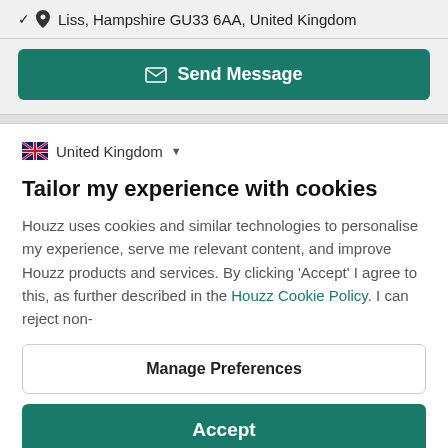Liss, Hampshire GU33 6AA, United Kingdom
Send Message
United Kingdom
Tailor my experience with cookies
Houzz uses cookies and similar technologies to personalise my experience, serve me relevant content, and improve Houzz products and services. By clicking 'Accept' I agree to this, as further described in the Houzz Cookie Policy. I can reject non-
Manage Preferences
Accept